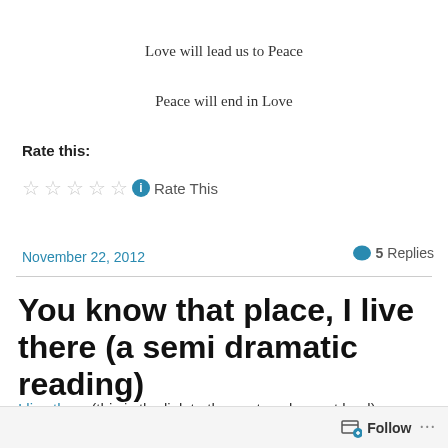Love will lead us to Peace
Peace will end in Love
Rate this:
☆☆☆☆☆ ℹ Rate This
November 22, 2012
5 Replies
You know that place, I live there (a semi dramatic reading)
I live there (this is the link to the post spoken out loud)
Follow ...